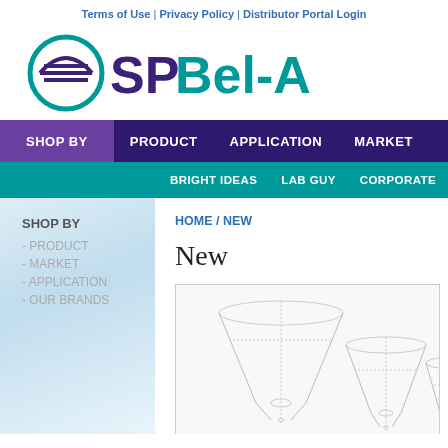Terms of Use | Privacy Policy | Distributor Portal Login
[Figure (logo): SP Bel-Art logo with teal circle icon and purple/teal text]
SHOP BY | PRODUCT | APPLICATION | MARKET
BRIGHT IDEAS | LAB GUY | CORPORATE | DEALER
HOME / NEW
SHOP BY
- PRODUCT
- MARKET
- APPLICATION
- OUR BRANDS
New
[Figure (photo): Product image showing laboratory funnels of various sizes with wireframe/outline style on white background]